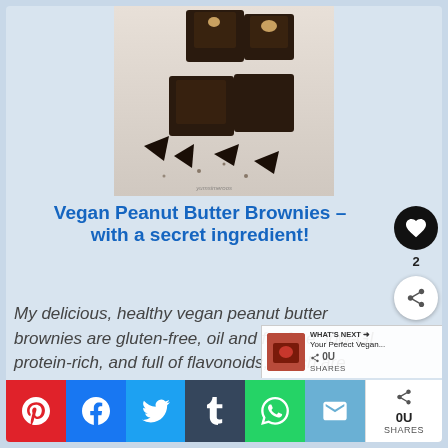[Figure (photo): Chocolate brownies cut into squares with chocolate pieces on a wooden board, watermark 'yumsimeroos']
Vegan Peanut Butter Brownies - with a secret ingredient!
My delicious, healthy vegan peanut butter brownies are gluten-free, oil and fat-free, low-GI, protein-rich, and full of flavonoids, which are believed to help
WHAT'S NEXT → Your Perfect Vegan...
0U SHARES